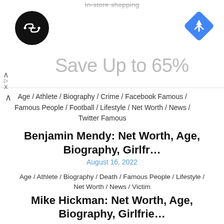[Figure (screenshot): Advertisement banner showing a dark circular logo with arrows icon on left, blue diamond Google Maps navigation icon on right, and large gray text 'Save Up to 65%']
Age / Athlete / Biography / Crime / Facebook Famous / Famous People / Football / Lifestyle / Net Worth / News / Twitter Famous
Benjamin Mendy: Net Worth, Age, Biography, Girlfr...
August 16, 2022
Age / Athlete / Biography / Death / Famous People / Lifestyle / Net Worth / News / Victim
Mike Hickman: Net Worth, Age, Biography, Girlfrie...
August 16, 2022
Age / Biography / Death / Famous People / Lifestyle / musician / Net Worth / News
Tokollo Tshabalala: Net Worth, Age, Biography, Gir...
August 16, 2022